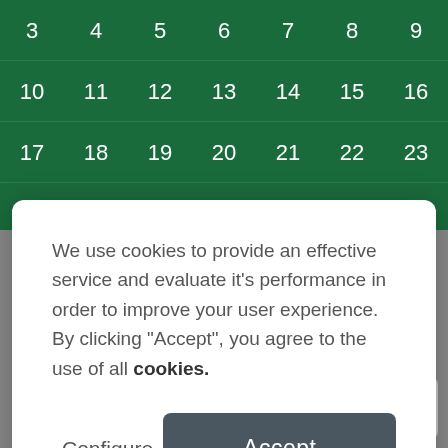[Figure (screenshot): Calendar background with green cells showing numbers 3-23 in rows]
We use cookies to provide an effective service and evaluate it's performance in order to improve your user experience. By clicking "Accept", you agree to the use of all cookies.
Configure
Accept